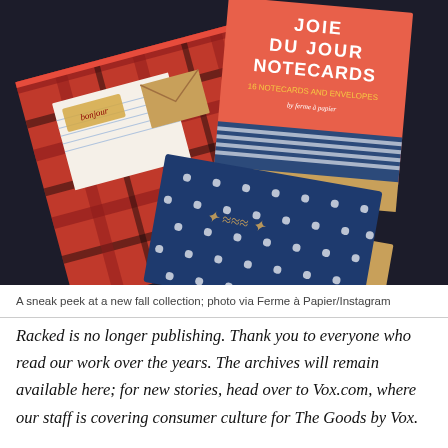[Figure (photo): A sneak peek photo of fall stationery collection items including a red plaid notecard box with 'bonjour' notecard, a 'Joie du Jour Notecards' box with red coral background showing 16 notecards and envelopes by Ferme à Papier, and a navy blue polka dot notecard with kraft envelope, all laid on a dark background.]
A sneak peek at a new fall collection; photo via Ferme à Papier/Instagram
Racked is no longer publishing. Thank you to everyone who read our work over the years. The archives will remain available here; for new stories, head over to Vox.com, where our staff is covering consumer culture for The Goods by Vox.